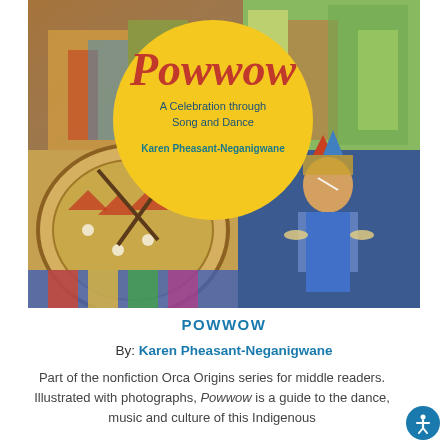[Figure (photo): Book cover of 'Powwow: A Celebration through Song and Dance' by Karen Pheasant-Neganigwane. The cover shows a photo collage of Indigenous people in traditional regalia at a powwow, including a child dancer in colorful beaded regalia, and a large ceremonial drum. A yellow circle in the center displays the book title 'Powwow' in red italic script, subtitle 'A Celebration through Song and Dance', and the author's name in teal.]
POWWOW
By: Karen Pheasant-Neganigwane
Part of the nonfiction Orca Origins series for middle readers. Illustrated with photographs, Powwow is a guide to the dance, music and culture of this Indigenous